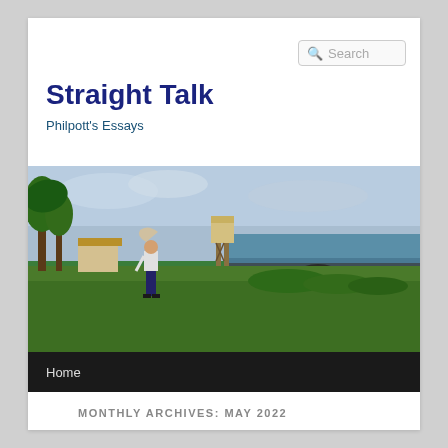[Figure (screenshot): Search box in top right corner of webpage header]
Straight Talk
Philpott's Essays
[Figure (photo): A person standing on a grassy coastal area with a lifeguard tower, beach, ocean, and trees in the background on a windy day]
Home
MONTHLY ARCHIVES: MAY 2022